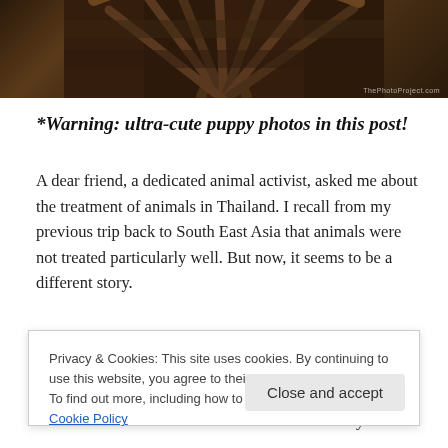[Figure (photo): A wooden wagon wheel or decorative wooden structure with spokes radiating outward, dark brown wood tones, partial view cropped at top of page. Watermark reads 'ThePhotoProject.com' in bottom right.]
*Warning: ultra-cute puppy photos in this post!
A dear friend, a dedicated animal activist, asked me about the treatment of animals in Thailand. I recall from my previous trip back to South East Asia that animals were not treated particularly well. But now, it seems to be a different story.
Dogs are carried in purses, and cats wear jackets. They
Privacy & Cookies: This site uses cookies. By continuing to use this website, you agree to their use.
To find out more, including how to control cookies, see here: Cookie Policy
stations have seemed cared for. The American-style